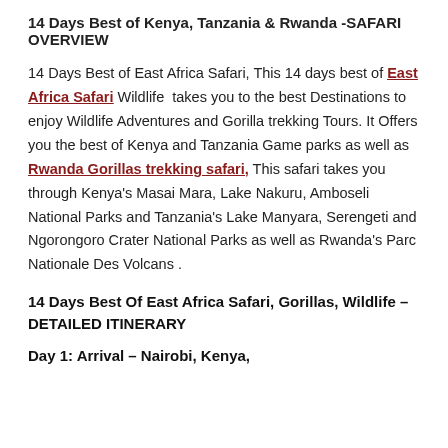14 Days Best of Kenya, Tanzania & Rwanda -SAFARI OVERVIEW
14 Days Best of East Africa Safari, This 14 days best of East Africa Safari Wildlife takes you to the best Destinations to enjoy Wildlife Adventures and Gorilla trekking Tours. It Offers you the best of Kenya and Tanzania Game parks as well as Rwanda Gorillas trekking safari, This safari takes you through Kenya's Masai Mara, Lake Nakuru, Amboseli National Parks and Tanzania's Lake Manyara, Serengeti and Ngorongoro Crater National Parks as well as Rwanda's Parc Nationale Des Volcans .
14 Days Best Of East Africa Safari, Gorillas, Wildlife – DETAILED ITINERARY
Day 1: Arrival – Nairobi, Kenya,